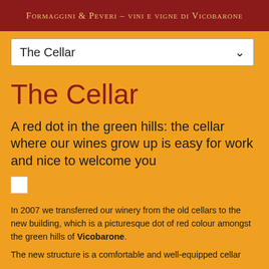Formaggini & Peveri – vini e vigne di Vicobarone
The Cellar
The Cellar
A red dot in the green hills: the cellar where our wines grow up is easy for work and nice to welcome you
[Figure (other): Small white square placeholder image]
In 2007 we transferred our winery from the old cellars to the new building, which is a picturesque dot of red colour amongst the green hills of Vicobarone.
The new structure is a comfortable and well-equipped cellar